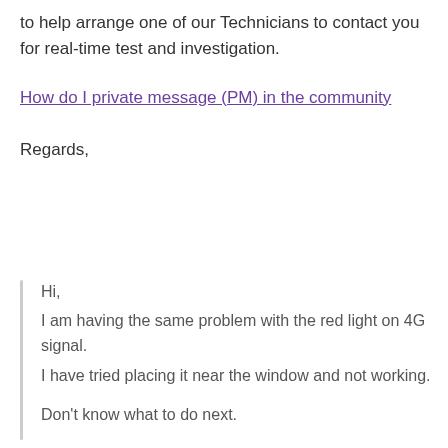to help arrange one of our Technicians to contact you for real-time test and investigation.
How do I private message (PM) in the community
Regards,
Hi, I am having the same problem with the red light on 4G signal. I have tried placing it near the window and not working. Don't know what to do next.